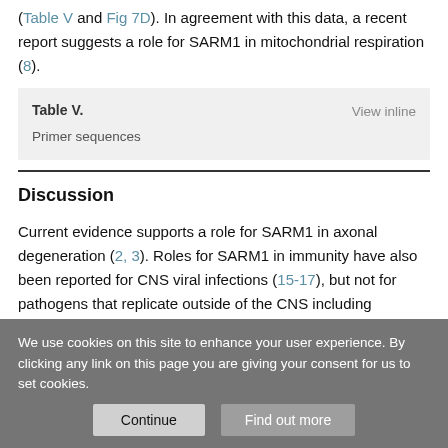(Table V and Fig 7D). In agreement with this data, a recent report suggests a role for SARM1 in mitochondrial respiration (8).
| Table V. | View inline |
| --- | --- |
| Primer sequences |  |
Discussion
Current evidence supports a role for SARM1 in axonal degeneration (2, 3). Roles for SARM1 in immunity have also been reported for CNS viral infections (15-17), but not for pathogens that replicate outside of the CNS including M.tuberculosis, L.
We use cookies on this site to enhance your user experience. By clicking any link on this page you are giving your consent for us to set cookies.